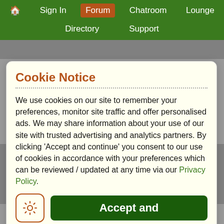🏠  Sign In  Forum  Chatroom  Lounge  Directory  Support
the void that he just won't. I know you may think I'm being naive and foolish to stay with a man that treats me this way but I'm so in love with him
Cookie Notice
We use cookies on our site to remember your preferences, monitor site traffic and offer personalised ads. We may share information about your use of our site with trusted advertising and analytics partners. By clicking 'Accept and continue' you consent to our use of cookies in accordance with your preferences which can be reviewed / updated at any time via our Privacy Policy.
that I sound clingy naive and childish to still be